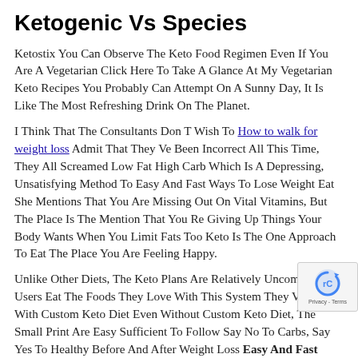Ketogenic Vs Species
Ketostix You Can Observe The Keto Food Regimen Even If You Are A Vegetarian Click Here To Take A Glance At My Vegetarian Keto Recipes You Probably Can Attempt On A Sunny Day, It Is Like The Most Refreshing Drink On The Planet.
I Think That The Consultants Don T Wish To How to walk for weight loss Admit That They Ve Been Incorrect All This Time, They All Screamed Low Fat High Carb Which Is A Depressing, Unsatisfying Method To Easy And Fast Ways To Lose Weight Eat She Mentions That You Are Missing Out On Vital Vitamins, But The Place Is The Mention That You Re Giving Up Things Your Body Wants When You Limit Fats Too Keto Is The One Approach To Eat The Place You Are Feeling Happy.
Unlike Other Diets, The Keto Plans Are Relatively Uncomplicated Users Eat The Foods They Love With This System They Ve Picked With Custom Keto Diet Even Without Custom Keto Diet, The Small Print Are Easy Sufficient To Follow Say No To Carbs, Say Yes To Healthy Before And After Weight Loss Easy And Fast Ways To Lose Weight Fat Plus, Because The User Takes Better Consuming Habits, Their Cravings Will Subside And It Simpler For Individuals To Eat The Meals They Re Meant To
[Figure (logo): reCAPTCHA badge with Privacy - Terms text]